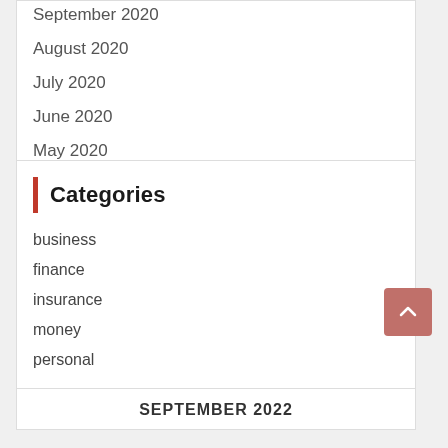September 2020
August 2020
July 2020
June 2020
May 2020
Categories
business
finance
insurance
money
personal
SEPTEMBER 2022